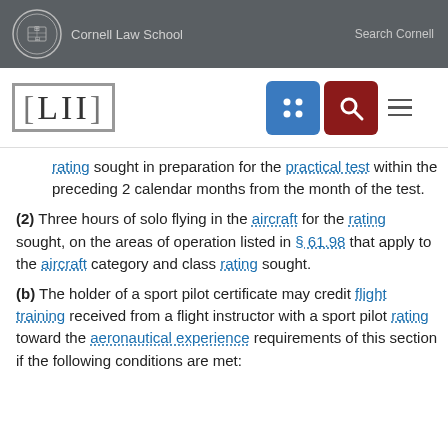Cornell Law School | Search Cornell | LII
rating sought in preparation for the practical test within the preceding 2 calendar months from the month of the test.
(2) Three hours of solo flying in the aircraft for the rating sought, on the areas of operation listed in § 61.98 that apply to the aircraft category and class rating sought.
(b) The holder of a sport pilot certificate may credit flight training received from a flight instructor with a sport pilot rating toward the aeronautical experience requirements of this section if the following conditions are met: